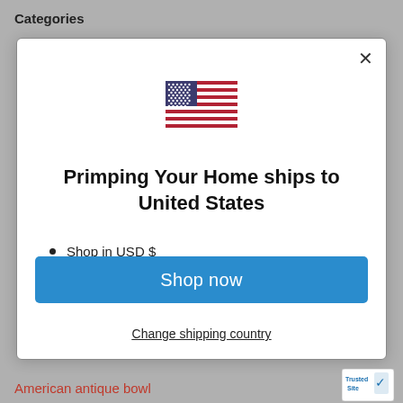Categories
[Figure (illustration): US flag emoji/icon centered in modal]
Primping Your Home ships to United States
Shop in USD $
Get shipping options for United States
Shop now
Change shipping country
American antique bowl
[Figure (logo): TrustedSite badge in bottom right corner]